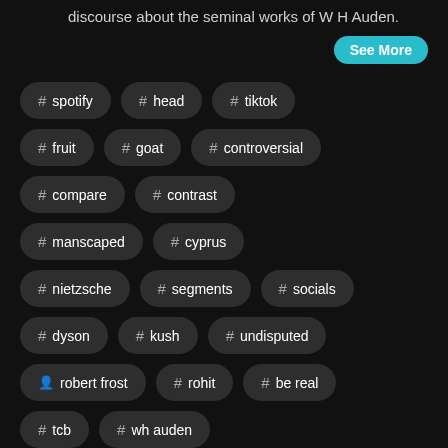discourse about the seminal works of W H Auden.
See More
# spotify
# head
# tiktok
# fruit
# goat
# controversial
# compare
# contrast
# manscaped
# cyprus
# nietzsche
# segments
# socials
# dyson
# kush
# undisputed
robert frost
# rohit
# be real
# tcb
# wh auden